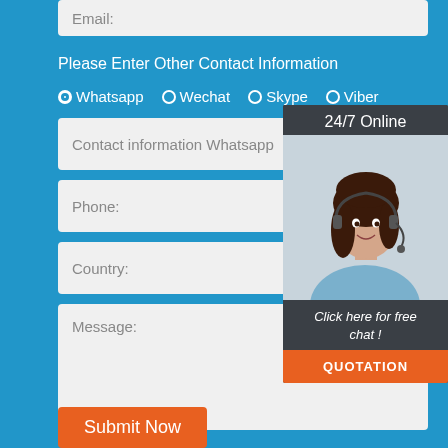Email:
Please Enter Other Contact Information
Whatsapp  Wechat  Skype  Viber
Contact information Whatsapp
Phone:
Country:
Message:
[Figure (photo): Customer service representative woman with headset, smiling. Overlay panel with '24/7 Online', 'Click here for free chat!', and 'QUOTATION' button.]
Submit Now